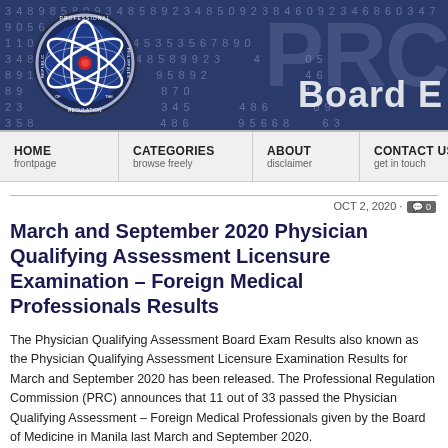[Figure (logo): PRC (Professional Regulation Commission) website header banner with logo, number background pattern, and 'Board E' text watermark]
HOME frontpage | CATEGORIES browse freely | ABOUT disclaimer | CONTACT US get in touch | SUBSC receive
OCT 2, 2020 · 0
March and September 2020 Physician Qualifying Assessment Licensure Examination – Foreign Medical Professionals Results
The Physician Qualifying Assessment Board Exam Results also known as the Physician Qualifying Assessment Licensure Examination Results for March and September 2020 has been released. The Professional Regulation Commission (PRC) announces that 11 out of 33 passed the Physician Qualifying Assessment – Foreign Medical Professionals given by the Board of Medicine in Manila last March and September 2020.